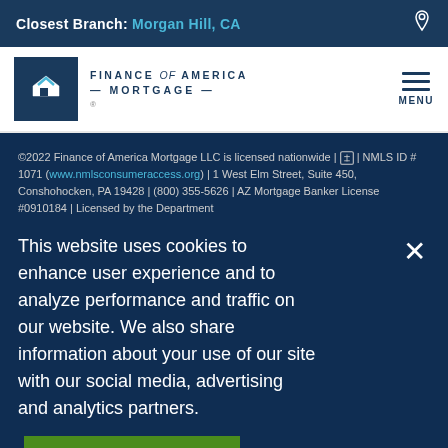Closest Branch: Morgan Hill, CA
[Figure (logo): Finance of America Mortgage logo with house/person icon in dark blue box]
©2022 Finance of America Mortgage LLC is licensed nationwide | [equal housing icon] | NMLS ID # 1071 (www.nmlsconsumeraccess.org) | 1 West Elm Street, Suite 450, Conshohocken, PA 19428 | (800) 355-5626 | AZ Mortgage Banker License #0910184 | Licensed by the Department
This website uses cookies to enhance user experience and to analyze performance and traffic on our website. We also share information about your use of our site with our social media, advertising and analytics partners.
Accept Cookies